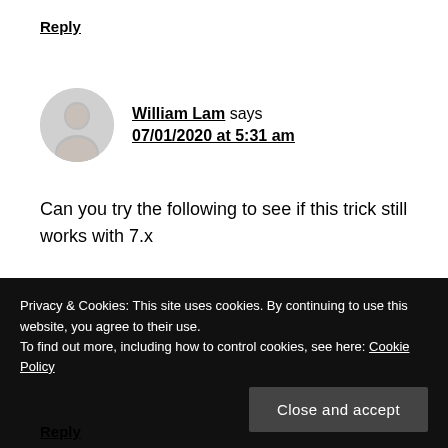Reply
William Lam says 07/01/2020 at 5:31 am
Can you try the following to see if this trick still works with 7.x
Unregister the VM, then manually add the following two entries to the VMX and then re-register the
Privacy & Cookies: This site uses cookies. By continuing to use this website, you agree to their use. To find out more, including how to control cookies, see here: Cookie Policy
Close and accept
Reply